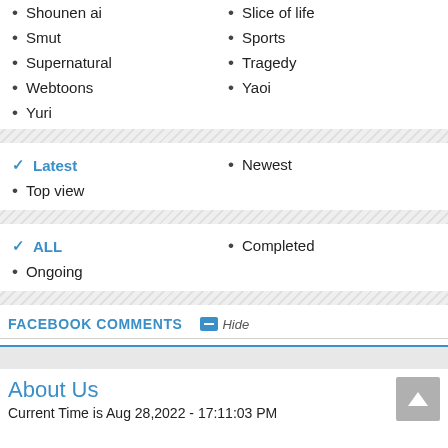Shounen ai
Slice of life
Smut
Sports
Supernatural
Tragedy
Webtoons
Yaoi
Yuri
✓ Latest (selected)
Newest
Top view
✓ ALL (selected)
Completed
Ongoing
FACEBOOK COMMENTS  Hide
About Us
Current Time is Aug 28,2022 - 17:11:03 PM